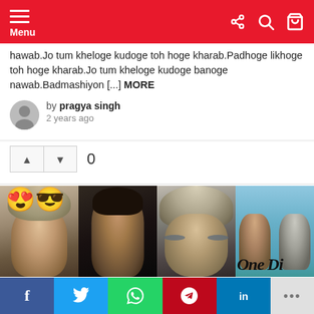Menu
hawab.Jo tum kheloge kudoge toh hoge kharab.Padhoge likhoge toh hoge kharab.Jo tum kheloge kudoge banoge nawab.Badmashiyon [...] MORE
by pragya singh
2 years ago
[Figure (other): Vote up and down buttons with count 0]
[Figure (photo): Collage of four photos of One Direction members with emoji overlays (heart-eyes and sunglasses faces). Text 'One Di' visible on the right panel.]
f  t  WhatsApp  p  in  ...